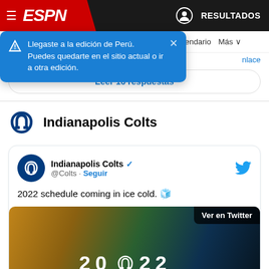ESPN — RESULTADOS
Llegaste a la edición de Perú. Puedes quedarte en el sitio actual o ir a otra edición.
alendario  Más
nlace
Leer 16 respuestas
Indianapolis Colts
Indianapolis Colts @Colts · Seguir
2022 schedule coming in ice cold. 🧊
[Figure (screenshot): Indianapolis Colts tweet image showing '20 [Colts logo] 22' with a player wearing a balaclava on the right and field image on the left, with 'Ver en Twitter' badge overlay]